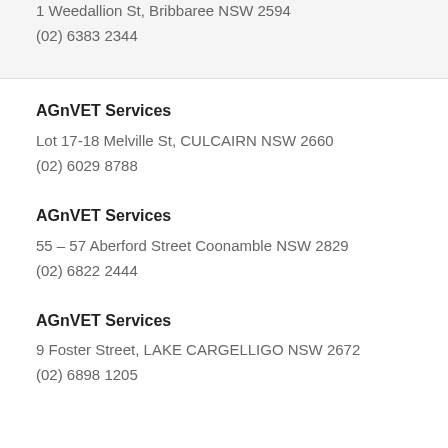1 Weedallion St, Bribbaree NSW 2594
(02) 6383 2344
AGnVET Services
Lot 17-18 Melville St, CULCAIRN NSW 2660
(02) 6029 8788
AGnVET Services
55 – 57 Aberford Street Coonamble NSW 2829
(02) 6822 2444
AGnVET Services
9 Foster Street, LAKE CARGELLIGO NSW 2672
(02) 6898 1205